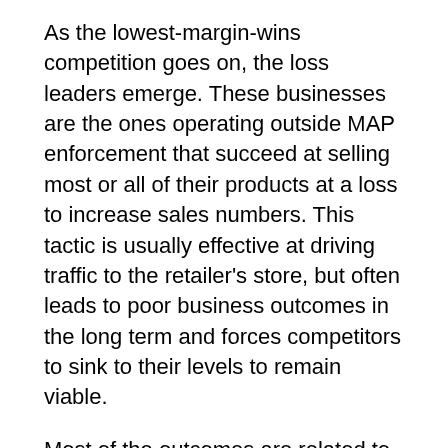As the lowest-margin-wins competition goes on, the loss leaders emerge. These businesses are the ones operating outside MAP enforcement that succeed at selling most or all of their products at a loss to increase sales numbers. This tactic is usually effective at driving traffic to the retailer's store, but often leads to poor business outcomes in the long term and forces competitors to sink to their levels to remain viable.
Most of the outcomes are related to price wars, which hurt retailers, brands, and manufacturers alike. Especially when automatic repricing tools are used, consistently driving prices down. MAP enforcement takes price wars out of the equation because every brand is able to set the